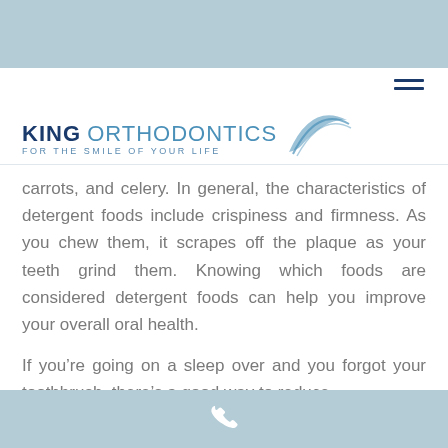[Figure (logo): King Orthodontics logo with swoosh and tagline 'FOR THE SMILE OF YOUR LIFE']
carrots, and celery. In general, the characteristics of detergent foods include crispiness and firmness. As you chew them, it scrapes off the plaque as your teeth grind them. Knowing which foods are considered detergent foods can help you improve your overall oral health.
If you’re going on a sleep over and you forgot your toothbrush, there’s a good way to reduce